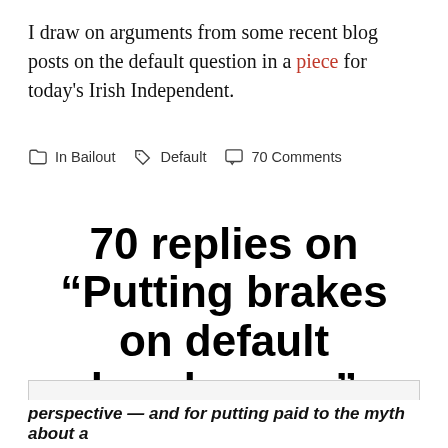I draw on arguments from some recent blog posts on the default question in a piece for today's Irish Independent.
In Bailout  Default  70 Comments
70 replies on “Putting brakes on default bandwagon”
Privacy & Cookies: This site uses cookies. By continuing to use this website, you agree to their use.
To find out more, including how to control cookies, see here: Cookie Policy
Close and accept
perspective — and for putting paid to the myth about a (highlighted bottom text continues)